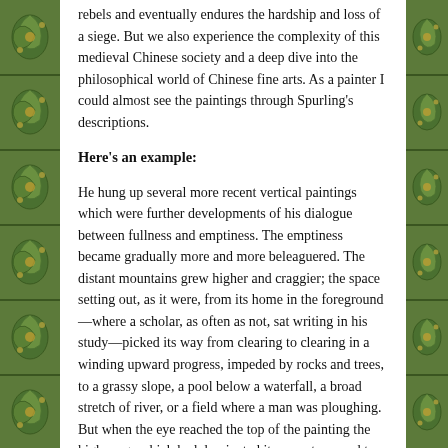rebels and eventually endures the hardship and loss of a siege. But we also experience the complexity of this medieval Chinese society and a deep dive into the philosophical world of Chinese fine arts. As a painter I could almost see the paintings through Spurling's descriptions.
Here's an example:
He hung up several more recent vertical paintings which were further developments of his dialogue between fullness and emptiness. The emptiness became gradually more and more beleaguered. The distant mountains grew higher and craggier; the space setting out, as it were, from its home in the foreground—where a scholar, as often as not, sat writing in his study—picked its way from clearing to clearing in a winding upward progress, impeded by rocks and trees, to a grassy slope, a pool below a waterfall, a broad stretch of river, or a field where a man was ploughing. But when the eye reached the top of the painting the high crags which had dominated its ascent seemed to draw aside like curtains to offer a final clear passage to the sky.